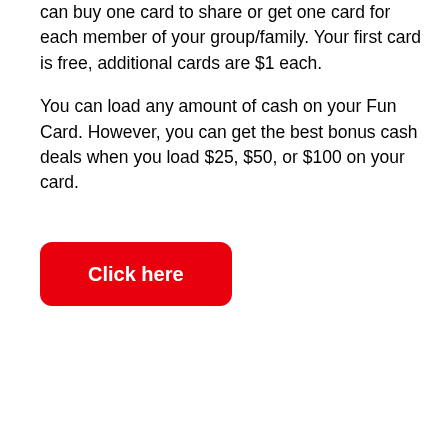can buy one card to share or get one card for each member of your group/family. Your first card is free, additional cards are $1 each.

You can load any amount of cash on your Fun Card. However, you can get the best bonus cash deals when you load $25, $50, or $100 on your card.
[Figure (other): Red rounded rectangle button with white bold text reading 'Click here']